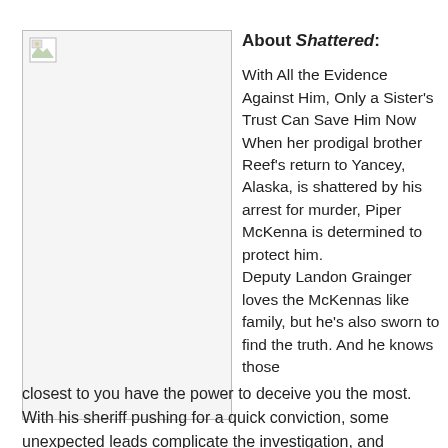[Figure (illustration): Book cover image placeholder (broken image icon) with border]
About Shattered:
With All the Evidence Against Him, Only a Sister's Trust Can Save Him Now
When her prodigal brother Reef's return to Yancey, Alaska, is shattered by his arrest for murder, Piper McKenna is determined to protect him.
Deputy Landon Grainger loves the McKennas like family, but he's also sworn to find the truth. And he knows those closest to you have the power to deceive you the most. With his sheriff pushing for a quick conviction, some unexpected leads complicate the investigation, and pursuing the truth puts Landon's career in jeopardy.
When Piper launches her own investigation, Landon realizes
When Piper launches her own investigation, Landon realizes